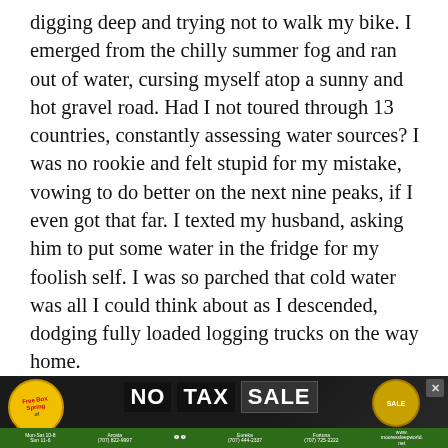digging deep and trying not to walk my bike. I emerged from the chilly summer fog and ran out of water, cursing myself atop a sunny and hot gravel road. Had I not toured through 13 countries, constantly assessing water sources? I was no rookie and felt stupid for my mistake, vowing to do better on the next nine peaks, if I even got that far. I texted my husband, asking him to put some water in the fridge for my foolish self. I was so parched that cold water was all I could think about as I descended, dodging fully loaded logging trucks on the way home.
I took one whole day to map out the rest of the peak routes, scheming and bouncing ideas off of my husband, who offered to play support when needed. Where is Grasshopper Peak? And Salmon Mountain? Was it near
[Figure (other): Advertisement banner for Moore's Sleep World with text 'NO TAX SALE', store locations in Arcata, Eureka, Fortuna with phone numbers, and a Free Box Spring offer badge.]